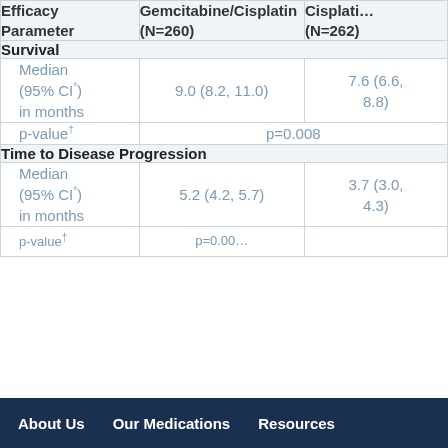| Efficacy Parameter | Gemcitabine/Cisplatin (N=260) | Cisplatin (N=262) |
| --- | --- | --- |
| Survival |  |  |
| Median (95% CI*) in months | 9.0 (8.2, 11.0) | 7.6 (6.6, 8.8) |
| p-value† | p=0.008 |  |
| Time to Disease Progression |  |  |
| Median (95% CI*) in months | 5.2 (4.2, 5.7) | 3.7 (3.0, 4.3) |
About Us   Our Medications   Resources